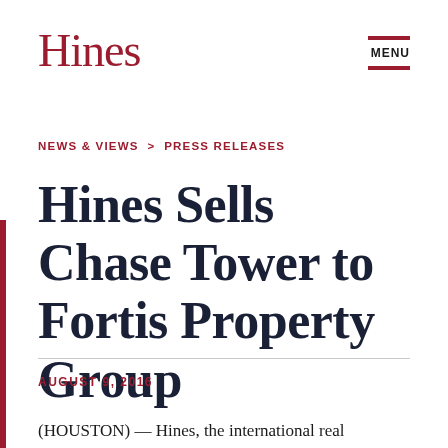Hines
MENU
NEWS & VIEWS > PRESS RELEASES
Hines Sells Chase Tower to Fortis Property Group
AUGUST 9, 2016
(HOUSTON) — Hines, the international real